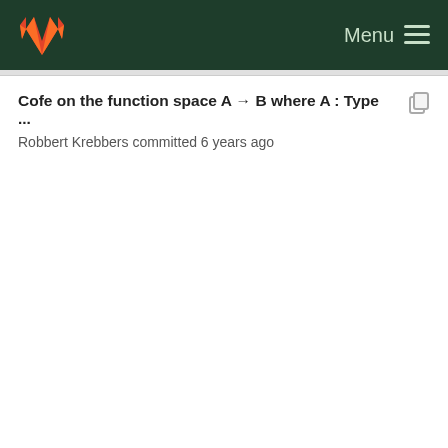GitLab — Menu
Cofe on the function space A → B where A : Type ...
Robbert Krebbers committed 6 years ago
use OFEs instead of COFEs everywhere
Ralf Jung committed 5 years ago
Cofe on the function space A → B where A : Type ...
Robbert Krebbers committed 6 years ago
use OFEs instead of COFEs everywhere
Ralf Jung committed 5 years ago